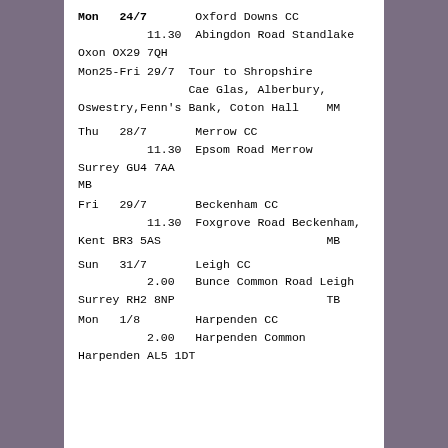Mon  24/7       Oxford Downs CC
          11.30  Abingdon Road Standlake
Oxon OX29 7QH
Mon25-Fri 29/7  Tour to Shropshire
                Cae Glas, Alberbury,
Oswestry,Fenn's Bank, Coton Hall    MM
Thu   28/7       Merrow CC
          11.30  Epsom Road Merrow
Surrey GU4 7AA
MB
Fri   29/7       Beckenham CC
          11.30  Foxgrove Road Beckenham,
Kent BR3 5AS                         MB
Sun   31/7       Leigh CC
          2.00   Bunce Common Road Leigh
Surrey RH2 8NP                       TB
Mon   1/8        Harpenden CC
          2.00   Harpenden Common
Harpenden AL5 1DT